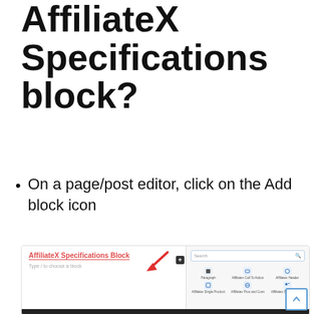How to add the AffiliateX Specifications block?
On a page/post editor, click on the Add block icon
[Figure (screenshot): Screenshot showing the AffiliateX Specifications Block editor page with a red arrow pointing to the Add block icon (plus button), and a block picker panel open on the right side with a search bar and blocks including Paragraph, Affiliatex Call To Action, Affiliatex Header, Affiliatex Single Product, Affiliatex Pros and Cons, and Affiliatex Specifications. A scroll-up button is visible in the bottom-right corner.]